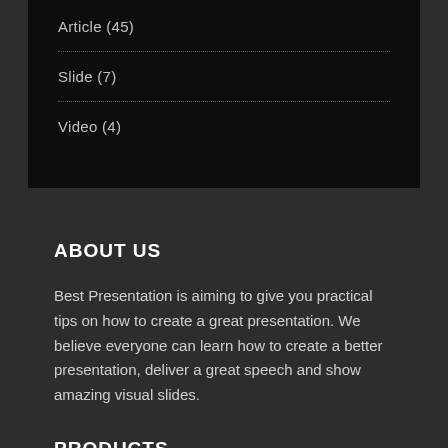Article (45)
Slide (7)
Video (4)
ABOUT US
Best Presentation is aiming to give you practical tips on how to create a great presentation. We believe everyone can learn how to create a better presentation, deliver a great speech and show amazing visual slides.
PRODUCTS